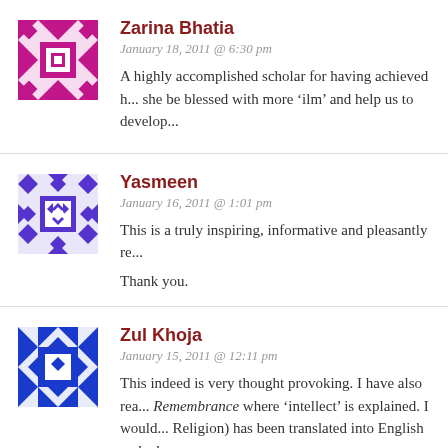[Figure (illustration): Magenta/pink geometric patterned avatar for Zarina Bhatia]
Zarina Bhatia
January 18, 2011 @ 6:30 pm
A highly accomplished scholar for having achieved h... she be blessed with more ‘ilm’ and help us to develop...
[Figure (illustration): Blue/purple geometric patterned avatar for Yasmeen]
Yasmeen
January 16, 2011 @ 1:01 pm
This is a truly inspiring, informative and pleasantly re...
Thank you.
[Figure (illustration): Blue geometric patterned avatar for Zul Khoja]
Zul Khoja
January 15, 2011 @ 12:11 pm
This indeed is very thought provoking. I have also rea... Remembrance where ‘intellect’ is explained. I would... Religion) has been translated into English and where...
Thank you